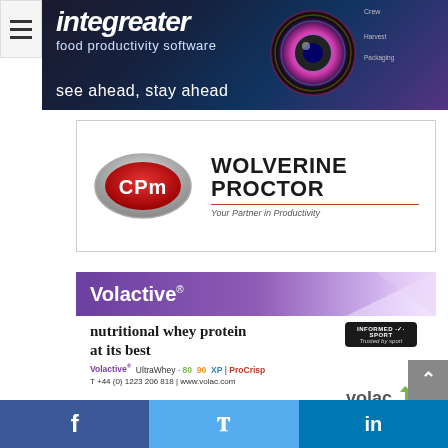[Figure (illustration): Integreater food productivity software banner - dark background with colorful eye graphic, text: integreater, food productivity software, see ahead, stay ahead]
[Figure (logo): CPM Wolverine Proctor logo - oval CPM badge in silver/red with text WOLVERINE PROCTOR and tagline Your Partner in Productivity]
[Figure (illustration): Volactive nutritional whey protein advertisement - purple header with Volactive brand, text: nutritional whey protein at its best, Volactive UltraWhey 80 90 XP ProCrisp, T +44 (0) 1223 206 818 www.volac.com, with Informed Sport badge and volac logo]